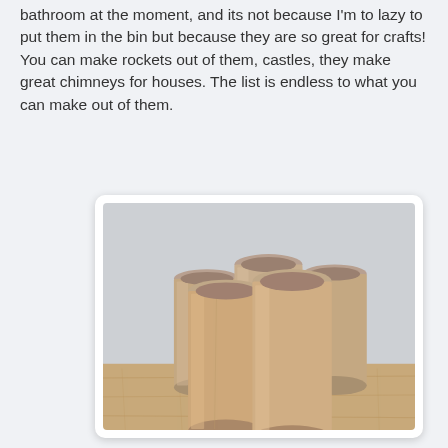bathroom at the moment, and its not because I'm to lazy to put them in the bin but because they are so great for crafts! You can make rockets out of them, castles, they make great chimneys for houses. The list is endless to what you can make out of them.
[Figure (photo): Five cardboard toilet paper rolls standing upright on a wooden surface, leaning against a light grey/white wall background.]